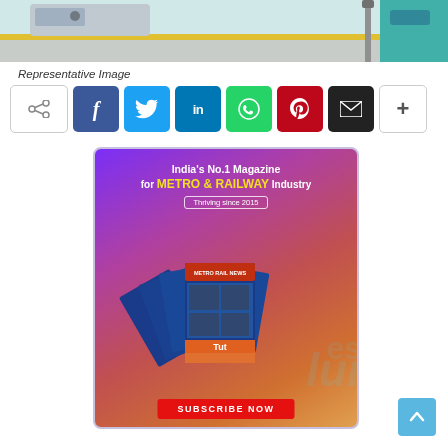[Figure (illustration): Top banner showing a railway/metro platform scene with tracks, yellow safety line, and figures in teal.]
Representative Image
[Figure (infographic): Social media share buttons row: share icon, Facebook (f), Twitter (bird), LinkedIn (in), WhatsApp (phone), Pinterest (P), Email (envelope), More (+)]
[Figure (infographic): Advertisement banner for Metro Rail News magazine. Text: India's No.1 Magazine for METRO & RAILWAY Industry. Thriving since 2015. Subscribe Now. Shows stacked magazine covers.]